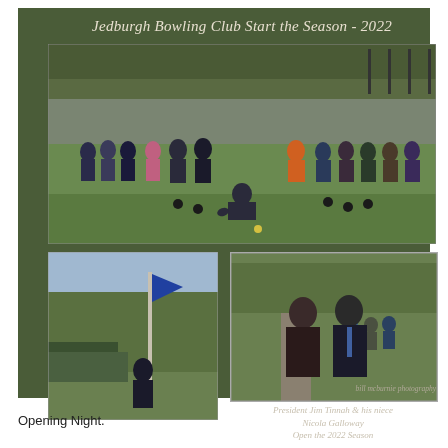Jedburgh Bowling Club Start the Season - 2022
[Figure (photo): Group photo of Jedburgh Bowling Club members on the bowling green, one person crouching to bowl, others standing and watching]
[Figure (photo): Person raising a blue flag on a flagpole outdoors near trees and hedges]
[Figure (photo): President Jim Tinnah and his niece Nicola Galloway posing together on bowling green]
President Jim Tinnah & his niece Nicola Galloway Open the 2022 Season
bill mcburnie photography
Opening Night.